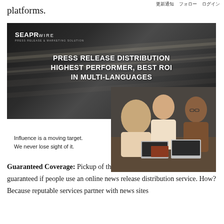更新通知　フォロー　ログイン
platforms.
[Figure (infographic): SEAPRwire banner advertisement with dark background showing diagonal light streaks, logo in top left, headline text 'PRESS RELEASE DISTRIBUTION HIGHEST PERFORMER, BEST ROI IN MULTI-LANGUAGES', and a photo of three people sitting at a table with laptops. Caption below left reads 'Influence is a moving target. We never lose sight of it.']
Guaranteed Coverage: Pickup of their news release is pretty much guaranteed if people use an online news release distribution service. How? Because reputable services partner with news sites